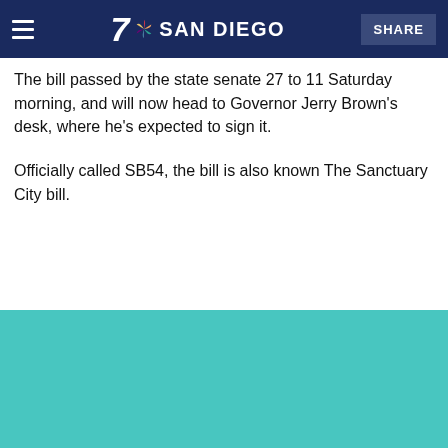7 SAN DIEGO | SHARE
The bill passed by the state senate 27 to 11 Saturday morning, and will now head to Governor Jerry Brown's desk, where he's expected to sign it.
Officially called SB54, the bill is also known The Sanctuary City bill.
[Figure (photo): Teal/turquoise colored image placeholder block]